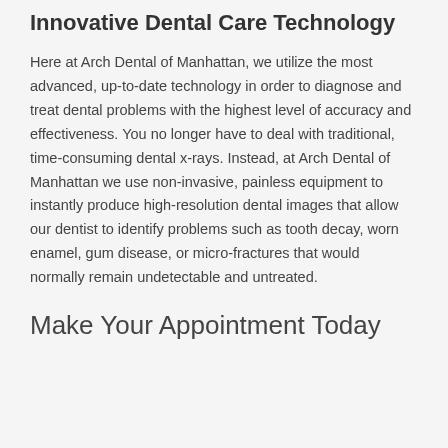Innovative Dental Care Technology
Here at Arch Dental of Manhattan, we utilize the most advanced, up-to-date technology in order to diagnose and treat dental problems with the highest level of accuracy and effectiveness. You no longer have to deal with traditional, time-consuming dental x-rays. Instead, at Arch Dental of Manhattan we use non-invasive, painless equipment to instantly produce high-resolution dental images that allow our dentist to identify problems such as tooth decay, worn enamel, gum disease, or micro-fractures that would normally remain undetectable and untreated.
Make Your Appointment Today